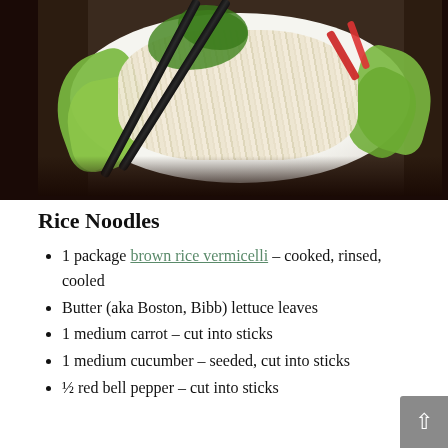[Figure (photo): A white plate of rice noodles (vermicelli) garnished with fresh green herbs, lettuce leaves, red bell pepper strips, and black chopsticks resting on top, set on a dark wooden surface.]
Rice Noodles
1 package brown rice vermicelli – cooked, rinsed, cooled
Butter (aka Boston, Bibb) lettuce leaves
1 medium carrot – cut into sticks
1 medium cucumber – seeded, cut into sticks
½ red bell pepper – cut into sticks